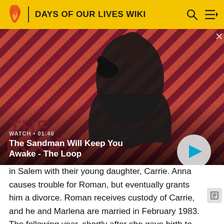DAYS OF OUR LIVES WIKI
[Figure (screenshot): Video thumbnail showing a dark-cloaked figure with a raven on their shoulder against a red and black diagonal striped background. Text overlay reads WATCH • 01:40 and The Sandman Will Keep You Awake - The Loop with a play button.]
in Salem with their young daughter, Carrie. Anna causes trouble for Roman, but eventually grants him a divorce. Roman receives custody of Carrie, and he and Marlena are married in February 1983. The following year, shortly after she gave birth to twins Sami and Eric Brady, Roman is shot by Stefano DiMera, and is presumed dead by